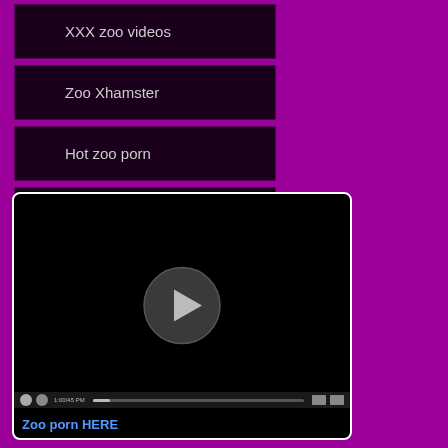XXX zoo videos
Zoo Xhamster
Hot zoo porn
Animal porn hub
[Figure (screenshot): Video player with black screen, play button, controls bar, and 'Zoo porn HERE' label]